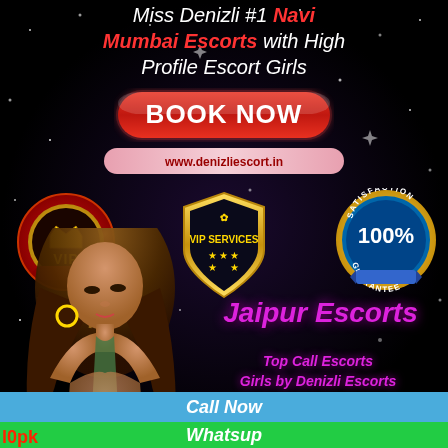Miss Denizli #1 Navi Mumbai Escorts with High Profile Escort Girls
[Figure (infographic): Red gradient Book Now button]
www.denizliescort.in
[Figure (infographic): VIP red/gold badge on left]
[Figure (infographic): VIP Services gold shield badge in center]
[Figure (infographic): 100% Satisfaction Guarantee badge on right]
[Figure (photo): Woman with long brown hair wearing green top]
Jaipur Escorts
Top Call Escorts Girls by Denizli Escorts
Call Now
Whatsup
l0pk